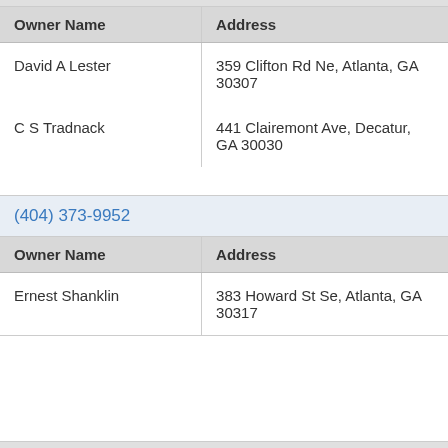| Owner Name | Address |
| --- | --- |
| David A Lester | 359 Clifton Rd Ne, Atlanta, GA 30307 |
| C S Tradnack | 441 Clairemont Ave, Decatur, GA 30030 |
(404) 373-9952
| Owner Name | Address |
| --- | --- |
| Ernest Shanklin | 383 Howard St Se, Atlanta, GA 30317 |